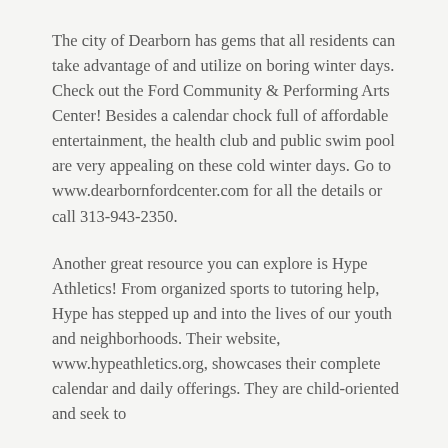The city of Dearborn has gems that all residents can take advantage of and utilize on boring winter days. Check out the Ford Community & Performing Arts Center! Besides a calendar chock full of affordable entertainment, the health club and public swim pool are very appealing on these cold winter days. Go to www.dearbornfordcenter.com for all the details or call 313-943-2350.
Another great resource you can explore is Hype Athletics! From organized sports to tutoring help, Hype has stepped up and into the lives of our youth and neighborhoods. Their website, www.hypeathletics.org, showcases their complete calendar and daily offerings. They are child-oriented and seek to